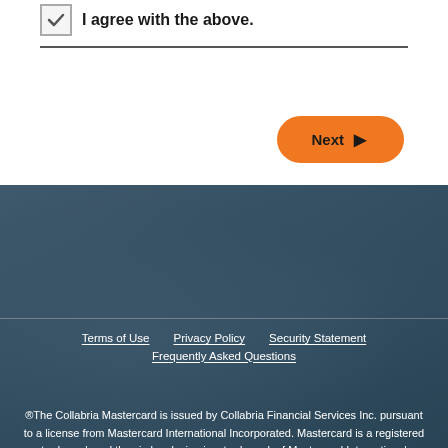I agree with the above.
Next ▶
Terms of Use   Privacy Policy   Security Statement   Frequently Asked Questions
®The Collabria Mastercard is issued by Collabria Financial Services Inc. pursuant to a license from Mastercard International Incorporated. Mastercard is a registered trademark and the circles design is a trademark of Mastercard International Incorporated.